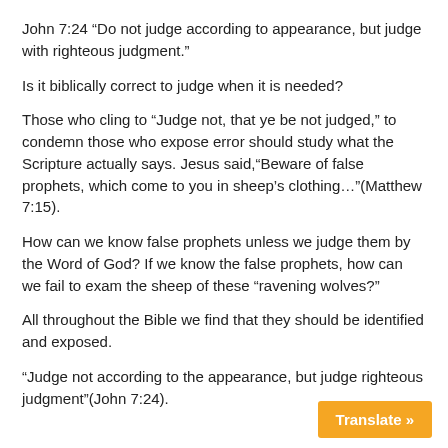John 7:24 “Do not judge according to appearance, but judge with righteous judgment.”
Is it biblically correct to judge when it is needed?
Those who cling to “Judge not, that ye be not judged,” to condemn those who expose error should study what the Scripture actually says. Jesus said,“Beware of false prophets, which come to you in sheep’s clothing…”(Matthew 7:15).
How can we know false prophets unless we judge them by the Word of God? If we know the false prophets, how can we fail to exam the sheep of these “ravening wolves?”
All throughout the Bible we find that they should be identified and exposed.
“Judge not according to the appearance, but judge righteous judgment”(John 7:24).
Translate »